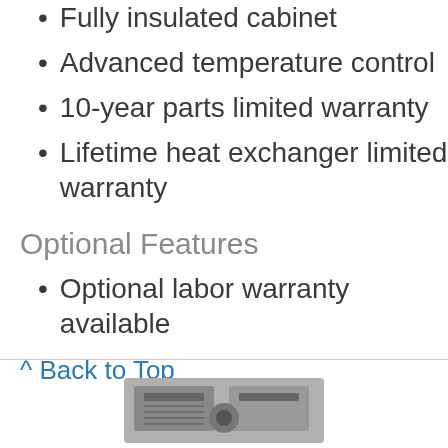Fully insulated cabinet
Advanced temperature control
10-year parts limited warranty
Lifetime heat exchanger limited warranty
Optional Features
Optional labor warranty available
^ Back to Top
[Figure (photo): Product image of a furnace or HVAC unit, partially visible at the bottom of the page]